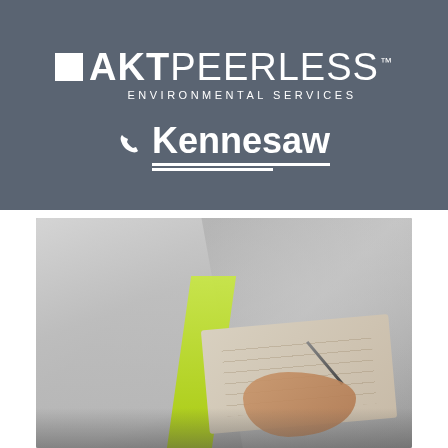[Figure (logo): AKT Peerless Environmental Services logo with white square icon, bold AKT text and lighter PEERLESS text, with ENVIRONMENTAL SERVICES subtitle below, on grey background]
Kennesaw
[Figure (photo): Photo of a person in a hi-visibility vest writing on a clipboard, blurred brick wall background]